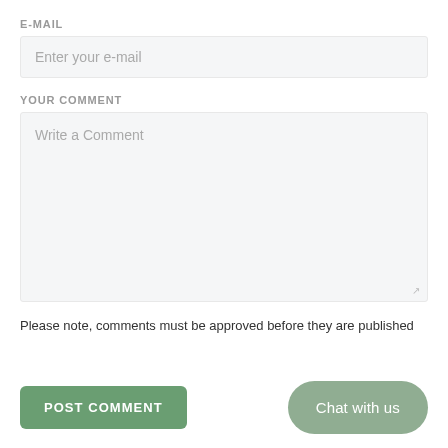E-MAIL
Enter your e-mail
YOUR COMMENT
Write a Comment
Please note, comments must be approved before they are published
POST COMMENT
Chat with us